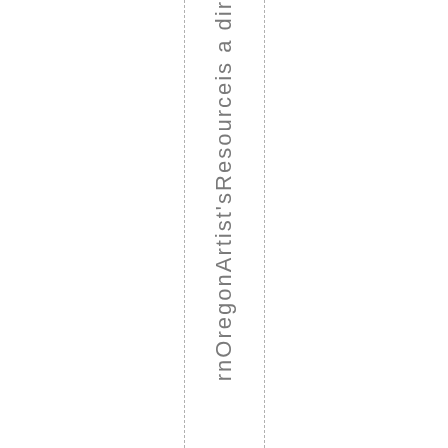rnOregonArtist'sResourceis a dir